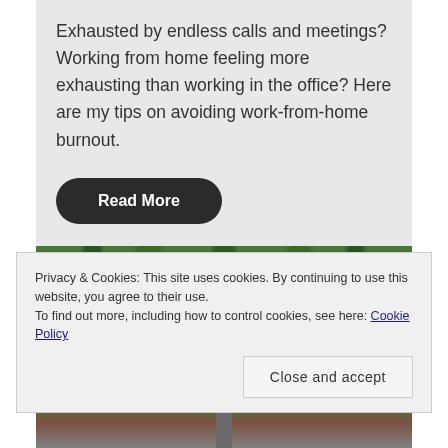Exhausted by endless calls and meetings? Working from home feeling more exhausting than working in the office? Here are my tips on avoiding work-from-home burnout.
Read More
[Figure (photo): Forest path photo, partially obscured by cookie consent banner]
Privacy & Cookies: This site uses cookies. By continuing to use this website, you agree to their use.
To find out more, including how to control cookies, see here: Cookie Policy
Close and accept